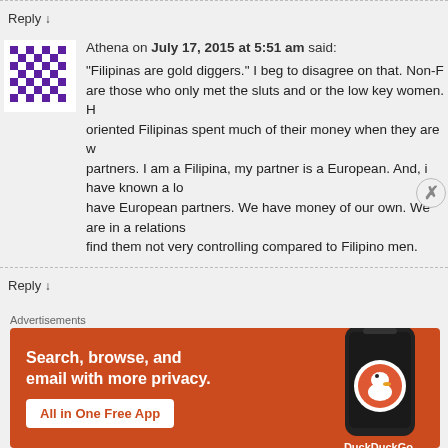Reply ↓
Athena on July 17, 2015 at 5:51 am said: "Filipinas are gold diggers." I beg to disagree on that. Non-F... are those who only met the sluts and or the low key women. H... oriented Filipinas spent much of their money when they are w... partners. I am a Filipina, my partner is a European. And, i have known a lo... have European partners. We have money of our own. We are in a relations... find them not very controlling compared to Filipino men.
Reply ↓
MantisShrimp on July 17, 2015 at 7:19 am said:
[Figure (screenshot): DuckDuckGo advertisement banner: Search, browse, and email with more privacy. All in One Free App. Shows a smartphone with DuckDuckGo logo.]